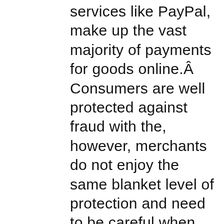services like PayPal, make up the vast majority of payments for goods online.Â Consumers are well protected against fraud with the, however, merchants do not enjoy the same blanket level of protection and need to be careful when accepting online payments.